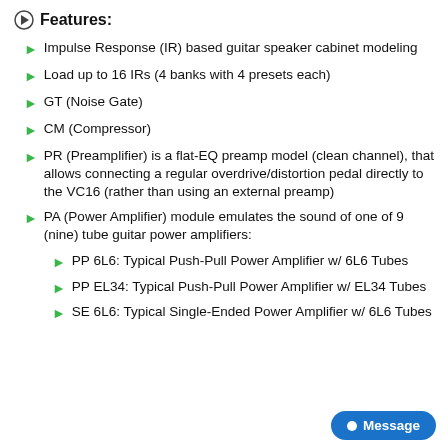Features:
Impulse Response (IR) based guitar speaker cabinet modeling
Load up to 16 IRs (4 banks with 4 presets each)
GT (Noise Gate)
CM (Compressor)
PR (Preamplifier) is a flat-EQ preamp model (clean channel), that allows connecting a regular overdrive/distortion pedal directly to the VC16 (rather than using an external preamp)
PA (Power Amplifier) module emulates the sound of one of 9 (nine) tube guitar power amplifiers:
PP 6L6: Typical Push-Pull Power Amplifier w/ 6L6 Tubes
PP EL34: Typical Push-Pull Power Amplifier w/ EL34 Tubes
SE 6L6: Typical Single-Ended Power Amplifier w/ 6L6 Tubes